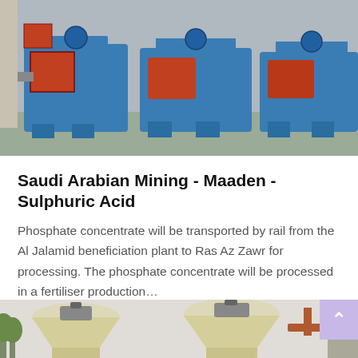[Figure (photo): Industrial mining equipment — blue and red/orange centrifugal fan/blower machines on metal frames in a facility yard]
Saudi Arabian Mining - Maaden - Sulphuric Acid
Phosphate concentrate will be transported by rail from the Al Jalamid beneficiation plant to Ras Az Zawr for processing. The phosphate concentrate will be processed in a fertiliser production…
[Figure (photo): Industrial cream/beige colored cone crusher or mill equipment outdoors with piping visible in background]